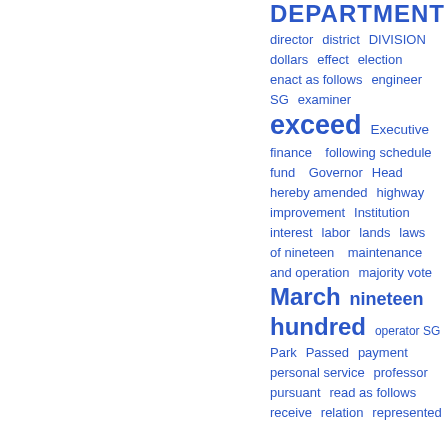[Figure (infographic): Word cloud of government/legal terms displayed in varying font sizes in blue, arranged in rows. Larger words include 'DEPARTMENT', 'exceed', 'March', 'nineteen hundred'. Other terms include director, district, DIVISION, dollars, effect, election, enact as follows, engineer SG, examiner, Executive, finance, following schedule, fund, Governor, Head, hereby amended, highway, improvement, Institution, interest, labor, lands, laws of nineteen, maintenance and operation, majority vote, operator SG, Park, Passed, payment, personal service, professor, pursuant, read as follows, receive, relation, represented.]